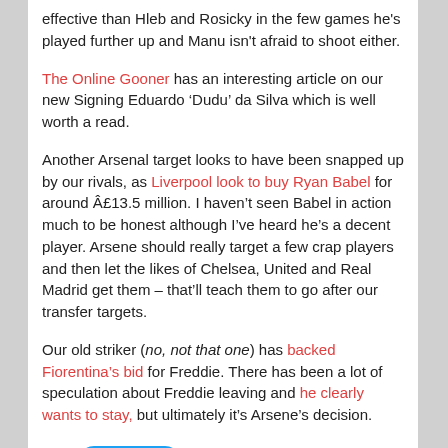effective than Hleb and Rosicky in the few games he's played further up and Manu isn't afraid to shoot either.
The Online Gooner has an interesting article on our new Signing Eduardo ‘Dudu’ da Silva which is well worth a read.
Another Arsenal target looks to have been snapped up by our rivals, as Liverpool look to buy Ryan Babel for around Â£13.5 million. I haven’t seen Babel in action much to be honest although I’ve heard he’s a decent player. Arsene should really target a few crap players and then let the likes of Chelsea, United and Real Madrid get them – that’ll teach them to go after our transfer targets.
Our old striker (no, not that one) has backed Fiorentina’s bid for Freddie. There has been a lot of speculation about Freddie leaving and he clearly wants to stay, but ultimately it’s Arsene’s decision.
[Figure (other): Tweet button]